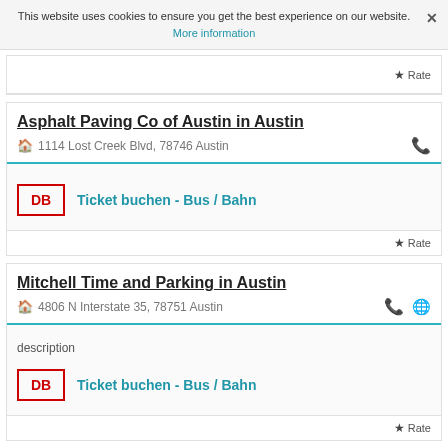This website uses cookies to ensure you get the best experience on our website. More information ×
★ Rate
Asphalt Paving Co of Austin in Austin
🏠 1114 Lost Creek Blvd, 78746 Austin
[Figure (logo): DB logo with link: Ticket buchen - Bus / Bahn]
★ Rate
Mitchell Time and Parking in Austin
🏠 4806 N Interstate 35, 78751 Austin
description
[Figure (logo): DB logo with link: Ticket buchen - Bus / Bahn]
★ Rate